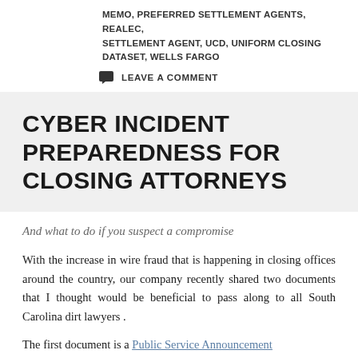MEMO, PREFERRED SETTLEMENT AGENTS, REALEC, SETTLEMENT AGENT, UCD, UNIFORM CLOSING DATASET, WELLS FARGO
LEAVE A COMMENT
CYBER INCIDENT PREPAREDNESS FOR CLOSING ATTORNEYS
And what to do if you suspect a compromise
With the increase in wire fraud that is happening in closing offices around the country, our company recently shared two documents that I thought would be beneficial to pass along to all South Carolina dirt lawyers .
The first document is a Public Service Announcement from the FBI dated August 27, 2015 concerning Business...